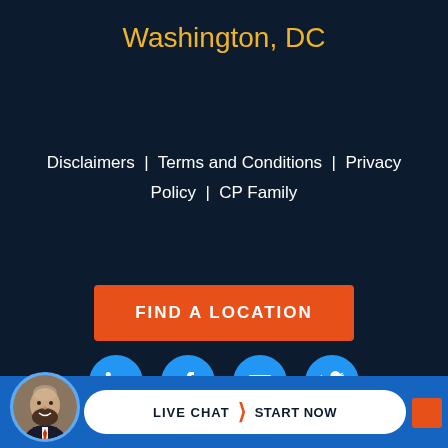Washington, DC
Disclaimers  |  Terms and Conditions  |  Privacy Policy  |  CP Family
FIND A LOCATION
[Figure (illustration): Row of four circular social media icons: LinkedIn, Facebook, YouTube, Twitter, all in blue circles with white icons]
[Figure (photo): Live chat bar at bottom with avatar photo of bearded man in suit, white pill-shaped button reading LIVE CHAT > START NOW]
LIVE CHAT › START NOW